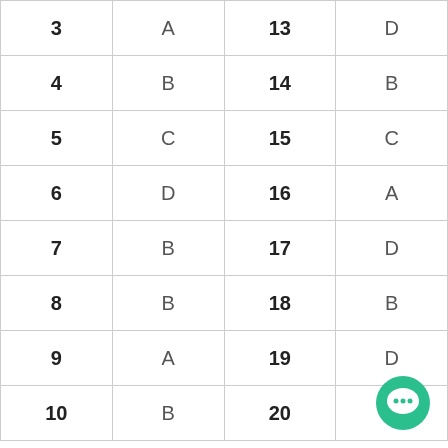| 3 | A | 13 | D |
| 4 | B | 14 | B |
| 5 | C | 15 | C |
| 6 | D | 16 | A |
| 7 | B | 17 | D |
| 8 | B | 18 | B |
| 9 | A | 19 | D |
| 10 | B | 20 | B |